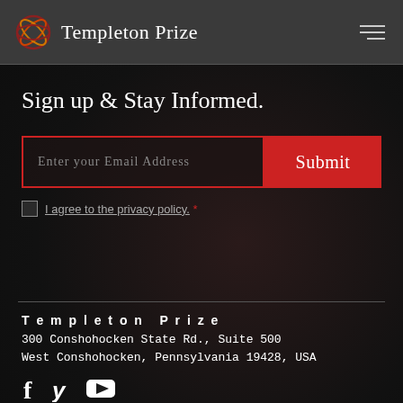Templeton Prize
Sign up & Stay Informed.
Enter your Email Address [Submit button]
I agree to the privacy policy. *
Templeton Prize
300 Conshohocken State Rd., Suite 500
West Conshohocken, Pennsylvania 19428, USA
© 2022 Templeton Prize. All Rights Reserved.
Mission-Based Web Design by Push10.  |  Privacy Policy